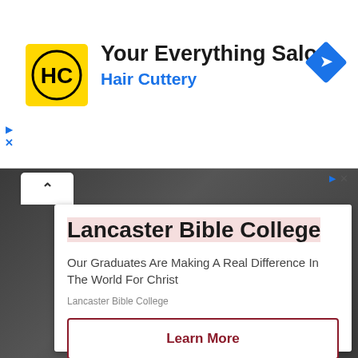[Figure (logo): Hair Cuttery HC logo yellow square with black circle and HC letters]
Your Everything Salon
Hair Cuttery
[Figure (infographic): Blue diamond navigation arrow icon]
[Figure (screenshot): Lancaster Bible College advertisement card with title, tagline, source, and Learn More button on dark building background]
Lancaster Bible College
Our Graduates Are Making A Real Difference In The World For Christ
Lancaster Bible College
Learn More